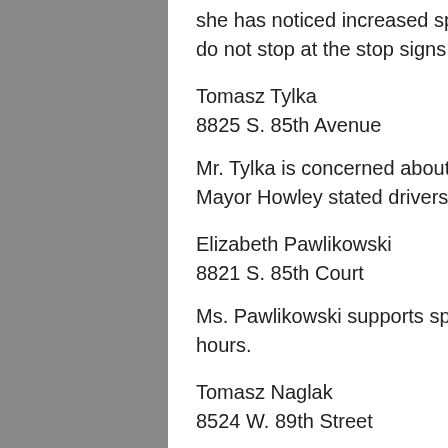she has noticed increased speeding. She is very fearful of the traffic and cars do not stop at the stop signs. She is also concerned with car burglaries.
Tomasz Tylka
8825 S. 85th Avenue
Mr. Tylka is concerned about traffic safety and small children riding their bikes. Mayor Howley stated drivers ignoring stop signs is a problem.
Elizabeth Pawlikowski
8821 S. 85th Court
Ms. Pawlikowski supports speed bumps. She also noted kids in the park after hours.
Tomasz Naglak
8524 W. 89th Street